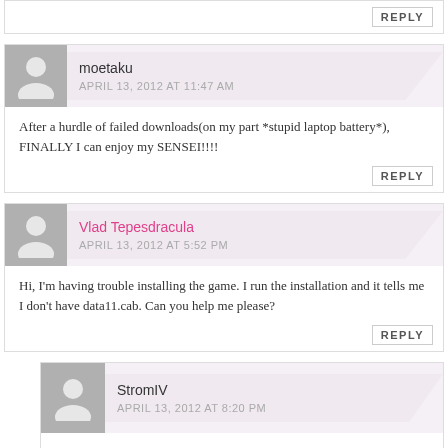REPLY
moetaku
APRIL 13, 2012 AT 11:47 AM
After a hurdle of failed downloads(on my part *stupid laptop battery*), FINALLY I can enjoy my SENSEI!!!!
REPLY
Vlad Tepesdracula
APRIL 13, 2012 AT 5:52 PM
Hi, I'm having trouble installing the game. I run the installation and it tells me I don't have data11.cab. Can you help me please?
REPLY
StromIV
APRIL 13, 2012 AT 8:20 PM
Are you extracting both .rar files to the same windows folder? The easy way to do this is to select both .rar files and